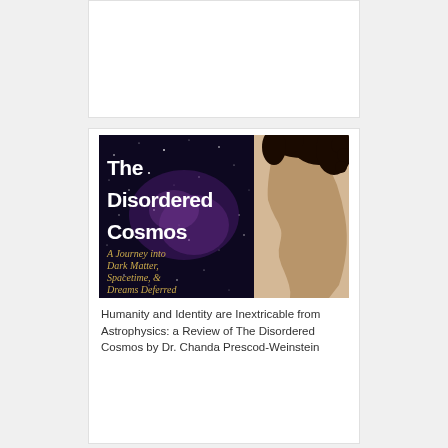[Figure (illustration): Book cover of 'The Disordered Cosmos: A Journey into Dark Matter, Spacetime, & Dreams Deferred' showing white bold title text on a dark starry background with a side-profile silhouette of a person's face on the right side against a tan/beige background]
Humanity and Identity are Inextricable from Astrophysics: a Review of The Disordered Cosmos by Dr. Chanda Prescod-Weinstein